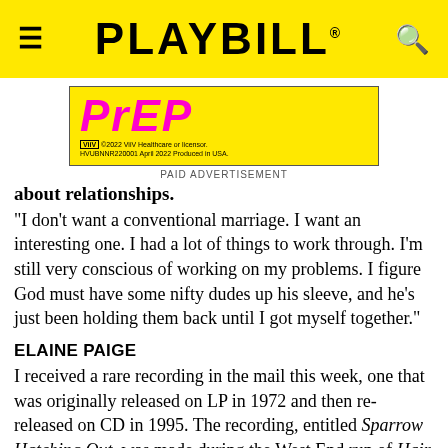PLAYBILL
[Figure (other): PrEP advertisement on yellow background. Text: PrEP (in magenta italic bold). ViiV ©2022 ViiV Healthcare or licensor. HVUBNNR220001 April 2022 Produced in USA. PAID ADVERTISEMENT]
about relationships.
"I don't want a conventional marriage. I want an interesting one. I had a lot of things to work through. I'm still very conscious of working on my problems. I figure God must have some nifty dudes up his sleeve, and he's just been holding them back until I got myself together."
ELAINE PAIGE
I received a rare recording in the mail this week, one that was originally released on LP in 1972 and then re-released on CD in 1995. The recording, entitled Sparrow Hatching Out, was made during the West End run of Hair and